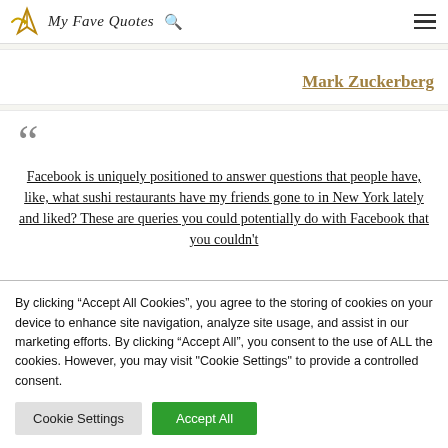My Fave Quotes
Mark Zuckerberg
Facebook is uniquely positioned to answer questions that people have, like, what sushi restaurants have my friends gone to in New York lately and liked? These are queries you could potentially do with Facebook that you couldn't
By clicking “Accept All Cookies”, you agree to the storing of cookies on your device to enhance site navigation, analyze site usage, and assist in our marketing efforts. By clicking “Accept All”, you consent to the use of ALL the cookies. However, you may visit "Cookie Settings" to provide a controlled consent.